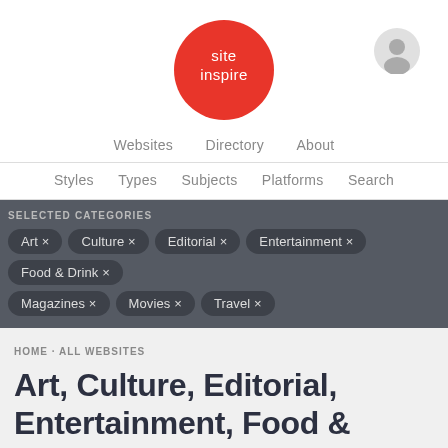[Figure (logo): SiteInspire red circle logo with white text 'site inspire']
[Figure (illustration): User/person icon in a light grey circle, top right corner]
Websites   Directory   About
Styles   Types   Subjects   Platforms   Search
SELECTED CATEGORIES
Art ×
Culture ×
Editorial ×
Entertainment ×
Food & Drink ×
Magazines ×
Movies ×
Travel ×
HOME · ALL WEBSITES
Art, Culture, Editorial, Entertainment, Food & Drink, Magazines, Movies, and Travel websites